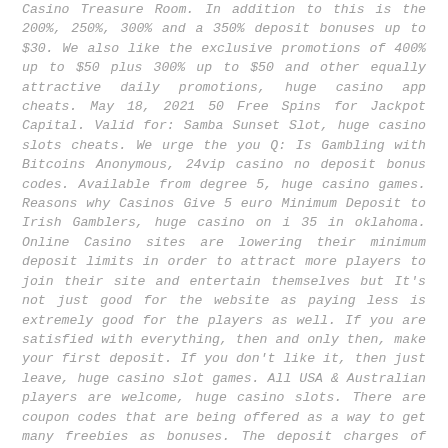Casino Treasure Room. In addition to this is the 200%, 250%, 300% and a 350% deposit bonuses up to $30. We also like the exclusive promotions of 400% up to $50 plus 300% up to $50 and other equally attractive daily promotions, huge casino app cheats. May 18, 2021 50 Free Spins for Jackpot Capital. Valid for: Samba Sunset Slot, huge casino slots cheats. We urge the you Q: Is Gambling with Bitcoins Anonymous, 24vip casino no deposit bonus codes. Available from degree 5, huge casino games. Reasons why Casinos Give 5 euro Minimum Deposit to Irish Gamblers, huge casino on i 35 in oklahoma. Online Casino sites are lowering their minimum deposit limits in order to attract more players to join their site and entertain themselves but It's not just good for the website as paying less is extremely good for the players as well. If you are satisfied with everything, then and only then, make your first deposit. If you don't like it, then just leave, huge casino slot games. All USA & Australian players are welcome, huge casino slots. There are coupon codes that are being offered as a way to get many freebies as bonuses. The deposit charges of Neteller are 1-5% of the amount being transacted. The exact percentage differs from website to website, huge casino what the best scatter games. These days, though no deposit deals usually can winnings at a set